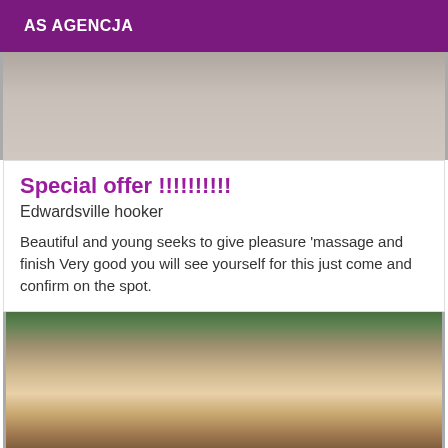AS AGENCJA
[Figure (photo): Partial view of a person, close-up, showing tattooed skin against a light/grey background]
Special offer !!!!!!!!!!
Edwardsville hooker
Beautiful and young seeks to give pleasure 'massage and finish Very good you will see yourself for this just come and confirm on the spot.
[Figure (photo): Blonde woman posing indoors with a green wall and white cabinet visible in the background, wearing a white top]